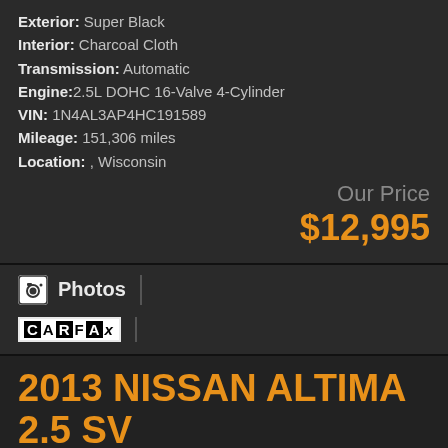Exterior: Super Black
Interior: Charcoal Cloth
Transmission: Automatic
Engine: 2.5L DOHC 16-Valve 4-Cylinder
VIN: 1N4AL3AP4HC191589
Mileage: 151,306 miles
Location: , Wisconsin
Our Price
$12,995
Photos
[Figure (logo): CARFAX logo badge]
2013 NISSAN ALTIMA 2.5 SV
[Figure (photo): Street-level photo of car dealership exterior with buildings and vehicles]